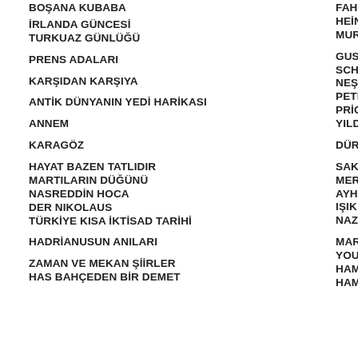BOŞANA KUBABA
İRLANDA GÜNCESİ
TURKUAZ GÜNLÜĞÜ
PRENS ADALARI
KARŞIDAN KARŞIYA
ANTİK DÜNYANIN YEDİ HARİKASI
ANNEM
KARAGÖZ
HAYAT BAZEN TATLIDIR
MARTILARIN DÜĞÜNÜ
NASREDDİN HOCA
DER NIKOLAUS
TÜRKİYE KISA İKTİSAD TARİHİ
HADRİANUSUN ANILARI
ZAMAN VE MEKAN ŞİİRLER
HAS BAHÇEDEN BİR DEMET
FAHRİŞIK
HEİNRİCK BÖL...
MURAT ÖZSOY...
GUSTAVE SCHLUMBERG...
NEŞET DEREL...
PETER CLAYTO... PRİCE
YILDIZ SERTEL...
DÜRRÜŞEHVA...
SAKİP SABANC...
MERİH GÜNAY...
AYHAN BAŞOĞ...
IŞIK SOYTÜRK...
NAZİF EKZEN...
MARGUERİTE YOURCENAR
HAMZA TANYA...
HAMZA TANYA...